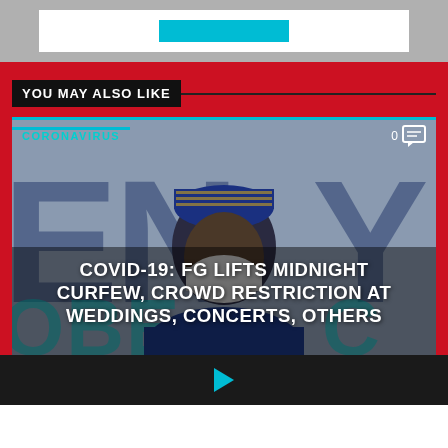[Figure (other): Advertisement banner with teal/cyan button]
YOU MAY ALSO LIKE
[Figure (photo): News article card showing a Nigerian official wearing a mask and traditional cap, with large text overlay: COVID-19: FG LIFTS MIDNIGHT CURFEW, CROWD RESTRICTION AT WEDDINGS, CONCERTS, OTHERS. Category label CORONAVIRUS in cyan at top left. Comment icon with 0 at top right.]
COVID-19: FG LIFTS MIDNIGHT CURFEW, CROWD RESTRICTION AT WEDDINGS, CONCERTS, OTHERS